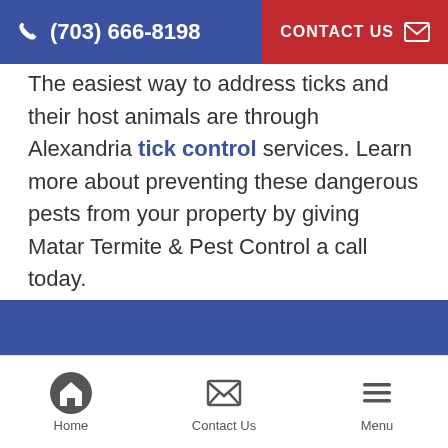(703) 666-8198  CONTACT US
The easiest way to address ticks and their host animals are through Alexandria tick control services. Learn more about preventing these dangerous pests from your property by giving Matar Termite & Pest Control a call today.
Tags: tick control | tick identification | ticks in alexandria
Home  Contact Us  Menu